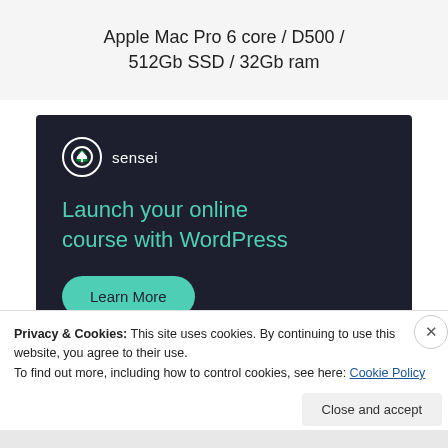Apple Mac Pro 6 core / D500 / 512Gb SSD / 32Gb ram
[Figure (infographic): Sensei advertisement banner with dark background. Shows Sensei logo (tree icon in circle) and text 'Launch your online course with WordPress' in teal color, with a 'Learn More' teal button.]
Privacy & Cookies: This site uses cookies. By continuing to use this website, you agree to their use.
To find out more, including how to control cookies, see here: Cookie Policy
Close and accept